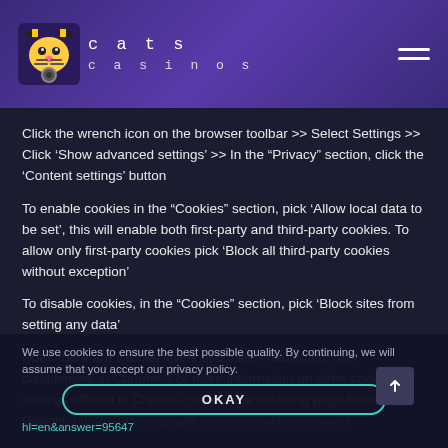cats casinos
Click the wrench icon on the browser toolbar >> Select Settings >> Click ‘Show advanced settings’ >> In the “Privacy” section, click the ‘Content settings’ button
To enable cookies in the “Cookies” section, pick ‘Allow local data to be set’, this will enable both first-party and third-party cookies. To allow only first-party cookies pick ‘Block all third-party cookies without exception’
To disable cookies, in the “Cookies” section, pick ‘Block sites from setting any data’
Note: there are various levels of cookie enablement and disablement in Chrome. For more information on other cookie settings offered in Chrome, refer to the following page from Google: http://support.google.com/chrome/bin/answer?y?hl=en&answer=95647
We use cookies to ensure the best possible quality. By continuing, we will assume that you accept our privacy policy.
OKAY